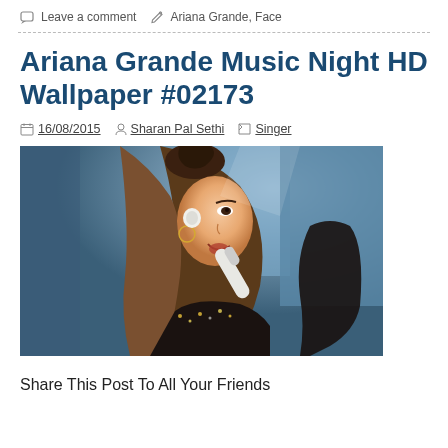Leave a comment   Ariana Grande, Face
Ariana Grande Music Night HD Wallpaper #02173
16/08/2015   Sharan Pal Sethi   Singer
[Figure (photo): Ariana Grande performing on stage, singing into a white microphone, with long flowing hair and a sparkly outfit, blue background lighting]
Share This Post To All Your Friends